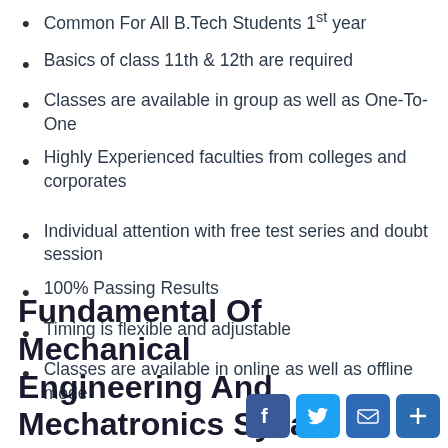Common For All B.Tech Students 1st year
Basics of class 11th & 12th are required
Classes are available in group as well as One-To-One
Highly Experienced faculties from colleges and corporates
Individual attention with free test series and doubt session
100% Passing Results
Timing is flexible and adjustable
Classes are available in online as well as offline mode
Fundamental Of Mechanical Engineering And Mechatronics Sylla